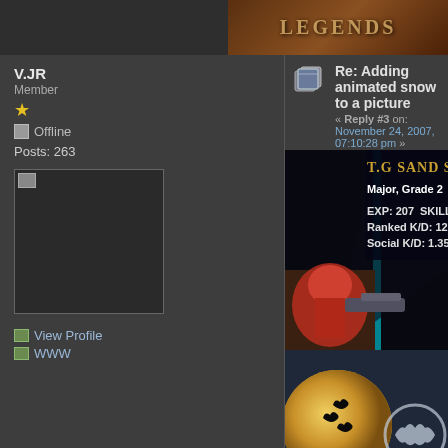[Figure (screenshot): Top banner area with game title image on the right side]
V.JR
Member
★
Offline
Posts: 263
[Figure (photo): User avatar placeholder image]
View Profile
WWW
Re: Adding animated snow to a picture
« Reply #3 on: November 24, 2007, 07:10:28 pm »
lol no problem
[Figure (screenshot): Game screenshot showing TG SAND SOU... title, Major Grade 2, EXP: 207, SKILL:, Ranked K/D: 12, Social K/D: 1.35, with a dark hooded figure and a robotic character, plus a moon with bats and Batman logo below]